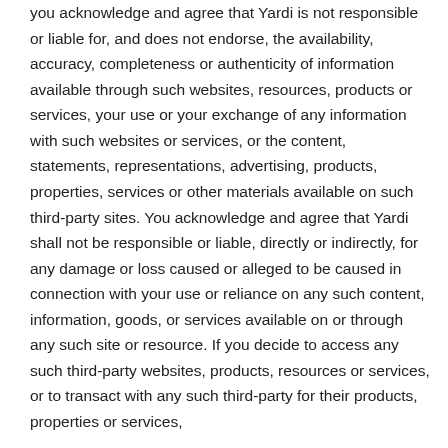you acknowledge and agree that Yardi is not responsible or liable for, and does not endorse, the availability, accuracy, completeness or authenticity of information available through such websites, resources, products or services, your use or your exchange of any information with such websites or services, or the content, statements, representations, advertising, products, properties, services or other materials available on such third-party sites. You acknowledge and agree that Yardi shall not be responsible or liable, directly or indirectly, for any damage or loss caused or alleged to be caused in connection with your use or reliance on any such content, information, goods, or services available on or through any such site or resource. If you decide to access any such third-party websites, products, resources or services, or to transact with any such third-party for their products, properties or services,